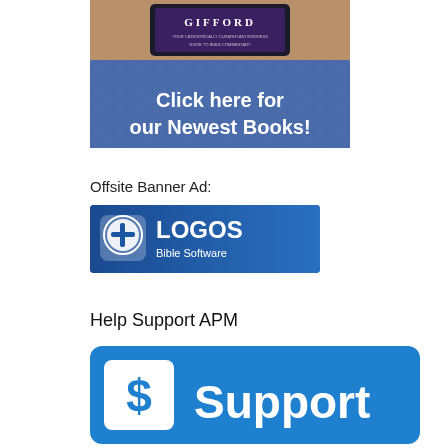[Figure (illustration): Top banner image showing a tablet with a book cover titled GIFFORD on a blue patterned background with text 'Click here for our Newest Books!']
Offsite Banner Ad:
[Figure (logo): Logos Bible Software banner ad with blue background, speech bubble icon with cross, and text 'LOGOS Bible Software']
Help Support APM
[Figure (illustration): Blue support button with white dollar sign box and text 'Support']